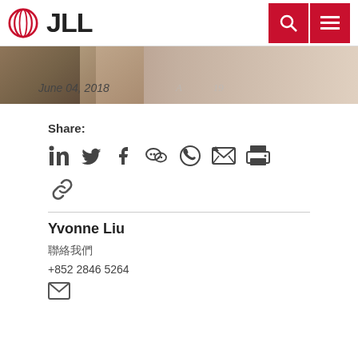JLL
[Figure (photo): Hero image with animals, partially visible, and handwritten text. Date shown: June 04, 2018]
Share:
[Figure (infographic): Social share icons: LinkedIn, Twitter, Facebook, WeChat, WhatsApp, Email, Print, Link]
Yvonne Liu
聯絡我們
+852 2846 5264
[Figure (infographic): Email icon]